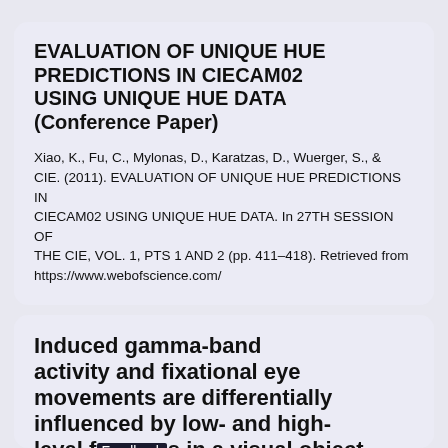EVALUATION OF UNIQUE HUE PREDICTIONS IN CIECAM02 USING UNIQUE HUE DATA (Conference Paper)
Xiao, K., Fu, C., Mylonas, D., Karatzas, D., Wuerger, S., & CIE. (2011). EVALUATION OF UNIQUE HUE PREDICTIONS IN CIECAM02 USING UNIQUE HUE DATA. In 27TH SESSION OF THE CIE, VOL. 1, PTS 1 AND 2 (pp. 411–418). Retrieved from https://www.webofscience.com/
Induced gamma-band activity and fixational eye movements are differentially influenced by low- and high-level features in a visual object classification task